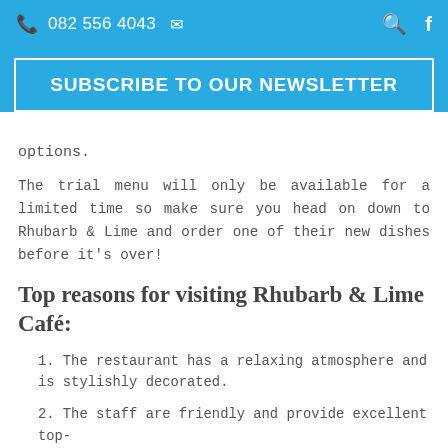082 556 4043  [envelope icon]  [search icon]  [facebook icon]
SUBSCRIBE TO OUR NEWSLETTER
options.
The trial menu will only be available for a limited time so make sure you head on down to Rhubarb & Lime and order one of their new dishes before it's over!
Top reasons for visiting Rhubarb & Lime Café:
1. The restaurant has a relaxing atmosphere and is stylishly decorated.
2. The staff are friendly and provide excellent top-